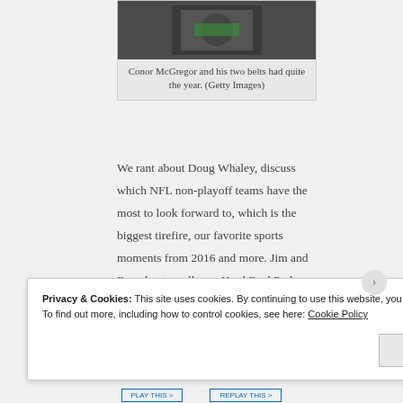[Figure (photo): Photo of Conor McGregor holding two championship belts, crowd visible in background]
Conor McGregor and his two belts had quite the year. (Getty Images)
We rant about Doug Whaley, discuss which NFL non-playoff teams have the most to look forward to, which is the biggest tirefire, our favorite sports moments from 2016 and more. Jim and Evan host an all new Hard Foul Pod.
Two Ways to Listen:
Privacy & Cookies: This site uses cookies. By continuing to use this website, you agree to their use.
To find out more, including how to control cookies, see here: Cookie Policy
Close and accept